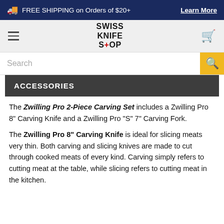FREE SHIPPING on Orders of $20+  Learn More
[Figure (logo): Swiss Knife Shop logo with hamburger menu and cart icon]
Search
ACCESSORIES
The Zwilling Pro 2-Piece Carving Set includes a Zwilling Pro 8" Carving Knife and a Zwilling Pro "S" 7" Carving Fork.
The Zwilling Pro 8" Carving Knife is ideal for slicing meats very thin. Both carving and slicing knives are made to cut through cooked meats of every kind. Carving simply refers to cutting meat at the table, while slicing refers to cutting meat in the kitchen.